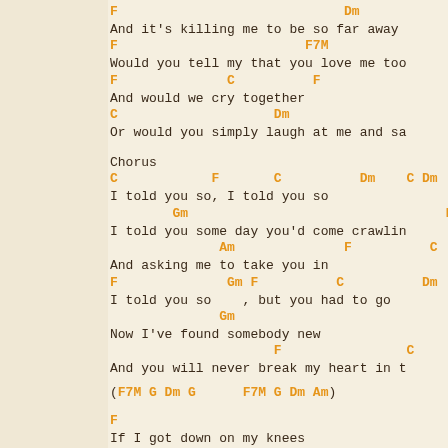F                             Dm              Am
And it's killing me to be so far away
F                        F7M
Would you tell my that you love me too
F              C          F
And would we cry together
C                    Dm
Or would you simply laugh at me and sa
Chorus
C            F       C          Dm    C Dm
I told you so, I told you so
Gm                                 F7M
I told you some day you'd come crawlin
Am              F          C
And asking me to take you in
F              Gm F          C          Dm
I told you so    , but you had to go
Gm
Now I've found somebody new
F                C
And you will never break my heart in t
(F7M G Dm G      F7M G Dm Am)
F
If I got down on my knees